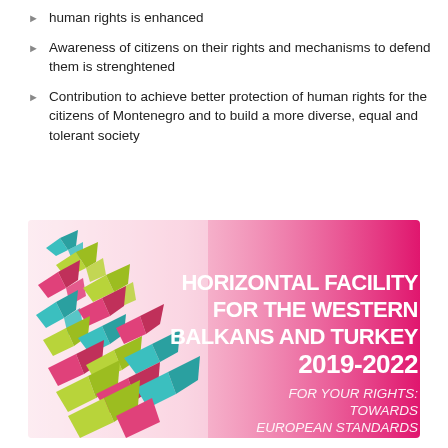human rights is enhanced
Awareness of citizens on their rights and mechanisms to defend them is strenghtened
Contribution to achieve better protection of human rights for the citizens of Montenegro and to build a more diverse, equal and tolerant society
[Figure (illustration): Banner for Horizontal Facility for the Western Balkans and Turkey 2019-2022. Features colorful origami birds (teal, pink/magenta, yellow-green) on a pink-to-white gradient background. Text reads: HORIZONTAL FACILITY FOR THE WESTERN BALKANS AND TURKEY 2019-2022 / FOR YOUR RIGHTS: TOWARDS EUROPEAN STANDARDS]